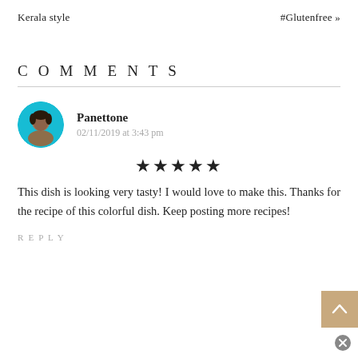Kerala style   #Glutenfree »
COMMENTS
[Figure (photo): Circular avatar photo of user Panettone — a young man with a cyan/blue background]
Panettone
02/11/2019 at 3:43 pm
[Figure (other): Five filled star rating icons]
This dish is looking very tasty! I would love to make this. Thanks for the recipe of this colorful dish. Keep posting more recipes!
REPLY